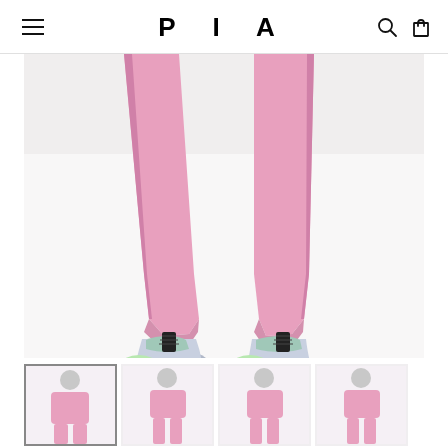PIA — navigation header with hamburger menu, logo, search and cart icons
[Figure (photo): Cropped lower-body shot of a person wearing pink jogger sweatpants with a side stripe detail, paired with iridescent/holographic high-top sneakers with black laces and green toe box, standing against a white background]
[Figure (photo): Thumbnail 1 (active/selected): Model wearing pink cropped hoodie and pink joggers, front view, upper body]
[Figure (photo): Thumbnail 2: Model wearing pink cropped hoodie and pink joggers, front full body pose]
[Figure (photo): Thumbnail 3: Model wearing pink cropped hoodie and pink joggers, front three-quarter view]
[Figure (photo): Thumbnail 4: Model wearing pink cropped hoodie and pink joggers, back/side view]